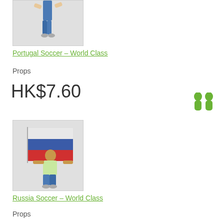[Figure (illustration): 3D avatar character in soccer pose, partial view, top portion cut off, on grey background]
Portugal Soccer - World Class
Props
HK$7.60
[Figure (illustration): Two green avatar silhouette icons side by side]
[Figure (illustration): 3D avatar character holding a large Russian flag (white, blue, red horizontal stripes) on grey background]
Russia Soccer - World Class
Props